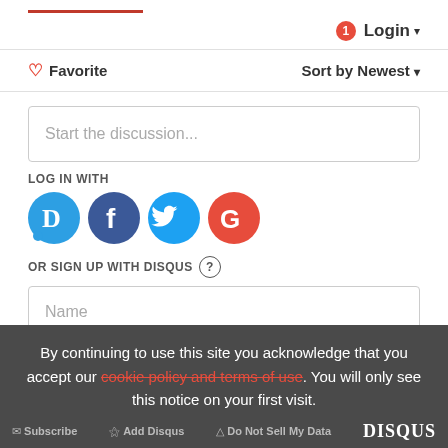[Figure (screenshot): Disqus comment widget UI showing login, favorite, sort, discussion box, social login icons, sign up form, and cookie notice]
Login
Favorite
Sort by Newest
Start the discussion...
LOG IN WITH
OR SIGN UP WITH DISQUS
Name
By continuing to use this site you acknowledge that you accept our cookie policy and terms of use. You will only see this notice on your first visit.
Subscribe  Add Disqus  Do Not Sell My Data  DISQUS